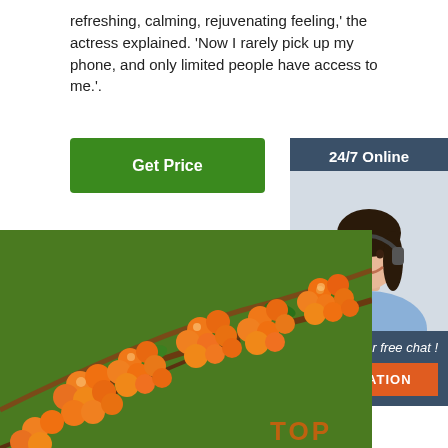refreshing, calming, rejuvenating feeling,' the actress explained. 'Now I rarely pick up my phone, and only limited people have access to me.'.
Get Price
24/7 Online
[Figure (photo): Woman with headset smiling, customer service representative]
Click here for free chat !
QUOTATION
[Figure (photo): Close-up photo of orange sea buckthorn berries on branches with green leaves]
TOP